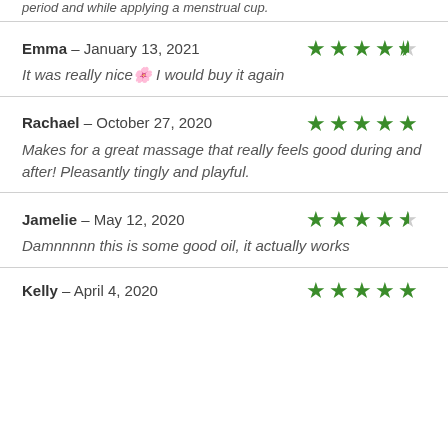period and while applying a menstrual cup.
Emma – January 13, 2021 | Rating: 4.5 stars | It was really nice🌸 I would buy it again
Rachael – October 27, 2020 | Rating: 5 stars | Makes for a great massage that really feels good during and after! Pleasantly tingly and playful.
Jamelie – May 12, 2020 | Rating: 4.5 stars | Damnnnnn this is some good oil, it actually works
Kelly – April 4, 2020 | Rating: 5 stars